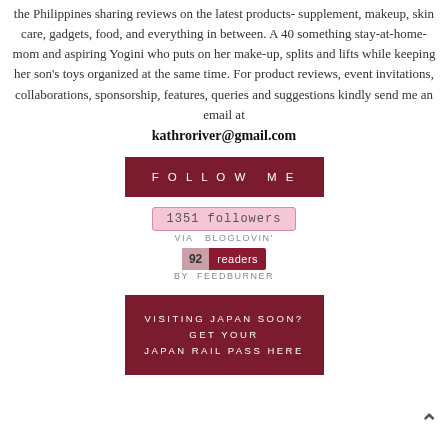the Philippines sharing reviews on the latest products- supplement, makeup, skin care, gadgets, food, and everything in between. A 40 something stay-at-home-mom and aspiring Yogini who puts on her make-up, splits and lifts while keeping her son's toys organized at the same time. For product reviews, event invitations, collaborations, sponsorship, features, queries and suggestions kindly send me an email at kathroriver@gmail.com
FOLLOW ME
1351 followers
VIA  BLOGLOVIN'
92 readers
BY FEEDBURNER
VISITING JAPAN SOON? GET YOUR JAPAN RAIL PASS HERE